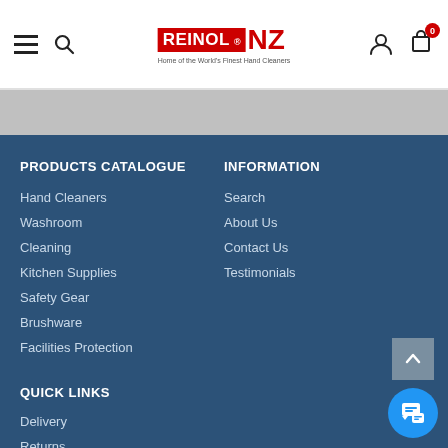REINOL NZ — Home of the World's Finest Hand Cleaners — navigation header with hamburger menu, search, user icon, cart (0)
PRODUCTS CATALOGUE
Hand Cleaners
Washroom
Cleaning
Kitchen Supplies
Safety Gear
Brushware
Facilities Protection
INFORMATION
Search
About Us
Contact Us
Testimonials
QUICK LINKS
Delivery
Returns
Terms & Conditions